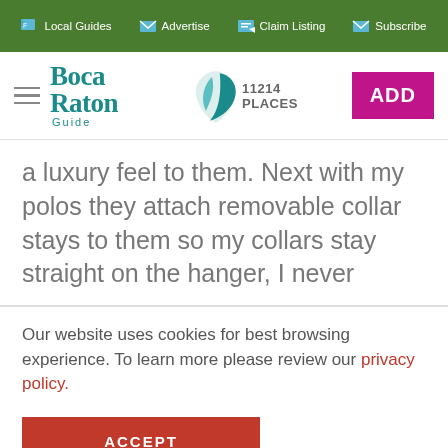Local Guides   Advertise   Claim Listing   Subscribe
[Figure (logo): Boca Raton Guide logo with teal leaf icon, hamburger menu, 11214 PLACES text and pink ADD button]
a luxury feel to them. Next with my polos they attach removable collar stays to them so my collars stay straight on the hanger, I never
Our website uses cookies for best browsing experience. To learn more please review our privacy policy.
ACCEPT